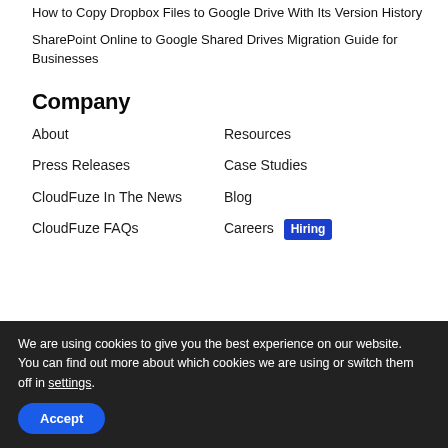How to Copy Dropbox Files to Google Drive With Its Version History
SharePoint Online to Google Shared Drives Migration Guide for Businesses
Company
About
Resources
Press Releases
Case Studies
CloudFuze In The News
Blog
CloudFuze FAQs
Careers Hiring
We are using cookies to give you the best experience on our website.
You can find out more about which cookies we are using or switch them off in settings.